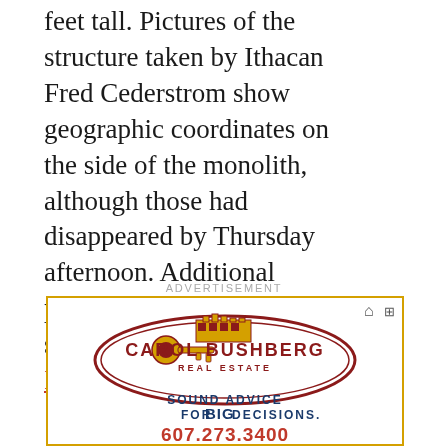feet tall. Pictures of the structure taken by Ithacan Fred Cederstrom show geographic coordinates on the side of the monolith, although those had disappeared by Thursday afternoon. Additional pictures were taken by user solarcrux and compiled into a Imgur folder.
ADVERTISEMENT
[Figure (other): Carol Bushberg Real Estate advertisement. Logo with golden key and building silhouette inside a dark red oval. Tagline: SOUND ADVICE FOR BIG DECISIONS. Phone: 607.273.3400]